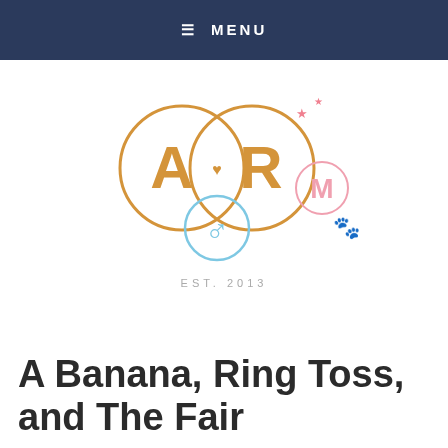☰ MENU
[Figure (logo): Blog logo with overlapping circles containing letters A and R in golden/amber color, a smaller pink circle with M, a blue circle with male symbol below, pink stars above, and a paw print. Text: EST. 2013]
A Banana, Ring Toss, and The Fair